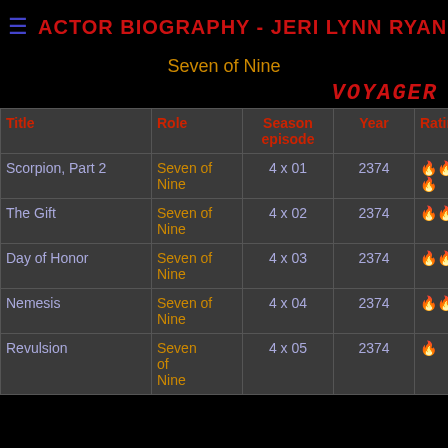ACTOR BIOGRAPHY - JERI LYNN RYAN
Seven of Nine
VOYAGER
| Title | Role | Season episode | Year | Rating |
| --- | --- | --- | --- | --- |
| Scorpion, Part 2 | Seven of Nine | 4 x 01 | 2374 | 🔥🔥🔥🔥🔥 |
| The Gift | Seven of Nine | 4 x 02 | 2374 | 🔥🔥 |
| Day of Honor | Seven of Nine | 4 x 03 | 2374 | 🔥🔥🔥 |
| Nemesis | Seven of Nine | 4 x 04 | 2374 | 🔥🔥🔥 |
| Revulsion | Seven of Nine | 4 x 05 | 2374 | 🔥 |